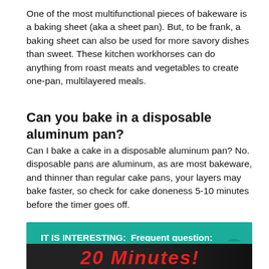One of the most multifunctional pieces of bakeware is a baking sheet (aka a sheet pan). But, to be frank, a baking sheet can also be used for more savory dishes than sweet. These kitchen workhorses can do anything from roast meats and vegetables to create one-pan, multilayered meals.
Can you bake in a disposable aluminum pan?
Can I bake a cake in a disposable aluminum pan? No. disposable pans are aluminum, as are most bakeware, and thinner than regular cake pans, your layers may bake faster, so check for cake doneness 5-10 minutes before the timer goes off.
IT IS INTERESTING: Frequent question: Can baking soda be used for making cake?
[Figure (screenshot): Bottom thumbnail showing '20 Minutes!' text in red on dark background]